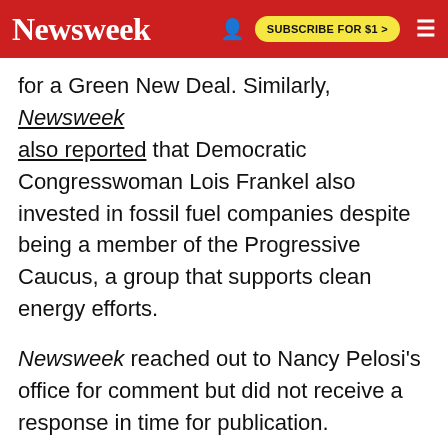Newsweek | SUBSCRIBE FOR $1 >
for a Green New Deal. Similarly, Newsweek also reported that Democratic Congresswoman Lois Frankel also invested in fossil fuel companies despite being a member of the Progressive Caucus, a group that supports clean energy efforts.
Newsweek reached out to Nancy Pelosi's office for comment but did not receive a response in time for publication.
Update 2/9/2022 5:49 p.m. ET: This story has been updated to include more information